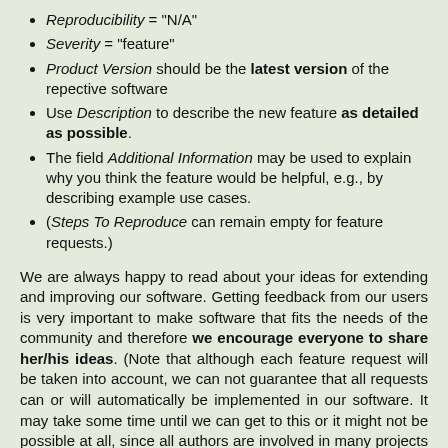Reproducibility = "N/A"
Severity = "feature"
Product Version should be the latest version of the repective software
Use Description to describe the new feature as detailed as possible.
The field Additional Information may be used to explain why you think the feature would be helpful, e.g., by describing example use cases.
(Steps To Reproduce can remain empty for feature requests.)
We are always happy to read about your ideas for extending and improving our software. Getting feedback from our users is very important to make software that fits the needs of the community and therefore we encourage everyone to share her/his ideas. (Note that although each feature request will be taken into account, we can not guarantee that all requests can or will automatically be implemented in our software. It may take some time until we can get to this or it might not be possible at all, since all authors are involved in many projects and their time is of course limited.)